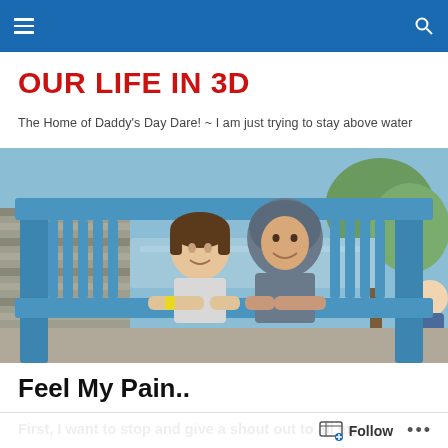OUR LIFE IN 3D — navigation bar
OUR LIFE IN 3D
The Home of Daddy's Day Dare! ~ I am just trying to stay above water
[Figure (photo): Two girls smiling and leaning on a large blue wooden Adirondack chair frame outdoors, stone wall and trees visible in background]
Feel My Pain..
First, I want to stop and give a shout out to all my
Follow